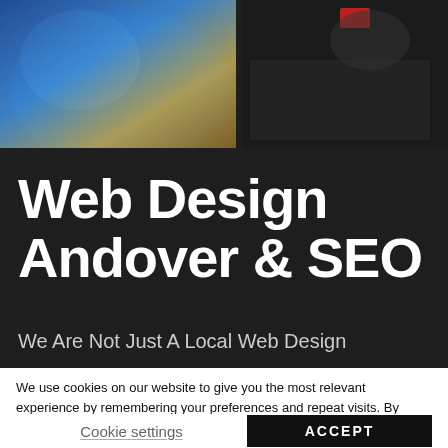[Figure (photo): Two overlapping photographs at top: left shows a person in blue clothing working at a desk, right shows a dark scene with a red element, possibly a computer screen.]
Web Design Andover & SEO
We Are Not Just A Local Web Design
We use cookies on our website to give you the most relevant experience by remembering your preferences and repeat visits. By clicking "Accept", you consent to the use of ALL the cookies. However you may visit Cookie Settings to provide a controlled consent.
Cookie settings
ACCEPT